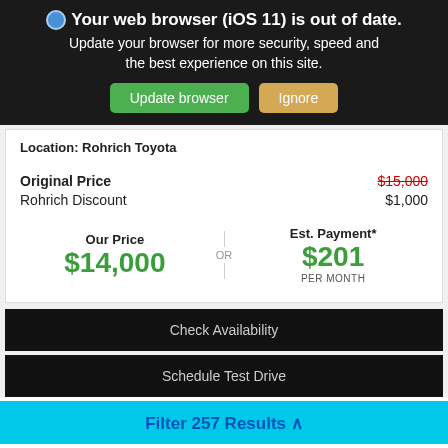Your web browser (iOS 11) is out of date. Update your browser for more security, speed and the best experience on this site. Update browser | Ignore
Location: Rohrich Toyota
Original Price  $15,000
Rohrich Discount  $1,000
Our Price $14,000  OR  Est. Payment* $201 PER MONTH
Check Availability
Schedule Test Drive
Filter 257 Results ^